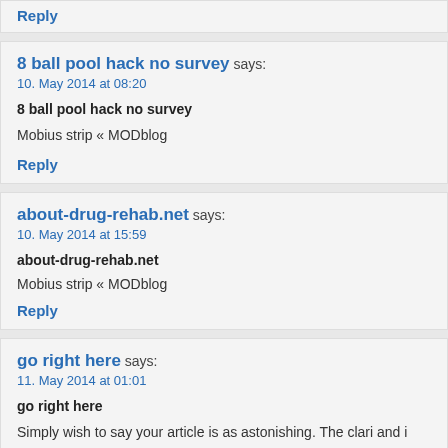Reply
8 ball pool hack no survey says:
10. May 2014 at 08:20
8 ball pool hack no survey
Mobius strip « MODblog
Reply
about-drug-rehab.net says:
10. May 2014 at 15:59
about-drug-rehab.net
Mobius strip « MODblog
Reply
go right here says:
11. May 2014 at 01:01
go right here
Simply wish to say your article is as astonishing. The clari and i can assume you're an expert on this subject. Well w grab your feed to keep updated with forthcoming post. Than
Reply